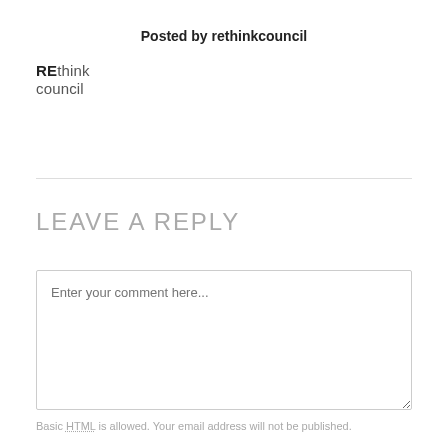Posted by rethinkcouncil
[Figure (logo): REthink council logo — RE in bold, think in regular weight, council below]
LEAVE A REPLY
Enter your comment here...
Basic HTML is allowed. Your email address will not be published.